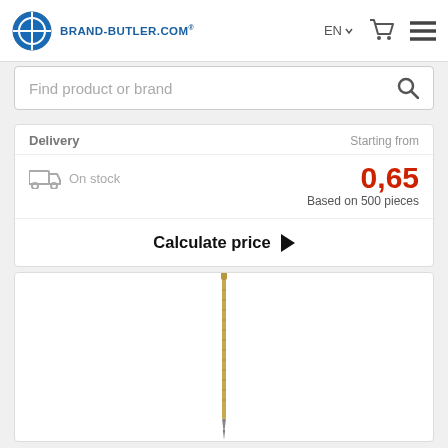BRAND-BUTLER.COM
Find product or brand
Delivery | Starting from
On stock
0,65
Based on 500 pieces
Calculate price
[Figure (photo): A thin golden/beige ballpoint pen shown vertically on a white background]